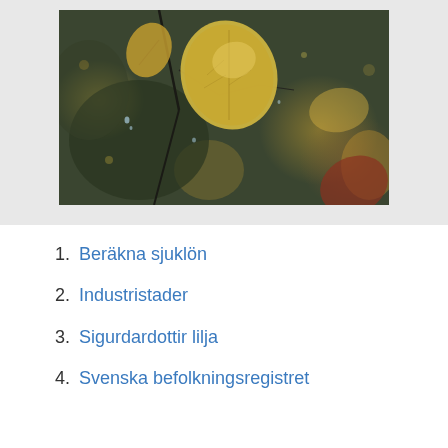[Figure (photo): Close-up photo of yellow autumn leaves on branches with bokeh background in dark green and golden tones, with water droplets visible]
1. Beräkna sjuklön
2. Industristader
3. Sigurdardottir lilja
4. Svenska befolkningsregistret